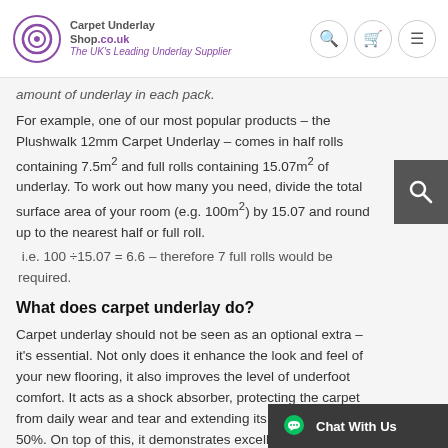Carpet Underlay Shop.co.uk – The UK's Leading Underlay Supplier
amount of underlay in each pack.
For example, one of our most popular products – the Plushwalk 12mm Carpet Underlay – comes in half rolls containing 7.5m² and full rolls containing 15.07m² of underlay. To work out how many you need, divide the total surface area of your room (e.g. 100m²) by 15.07 and round up to the nearest half or full roll.
i.e. 100 ÷ 15.07 = 6.6 – therefore 7 full rolls would be required.
What does carpet underlay do?
Carpet underlay should not be seen as an optional extra – it's essential. Not only does it enhance the look and feel of your new flooring, it also improves the level of underfoot comfort. It acts as a shock absorber, protecting the carpet from daily wear and tear and extending its lifespan by up to 50%. On top of this, it demonstrates excellent thermal insulation properties.